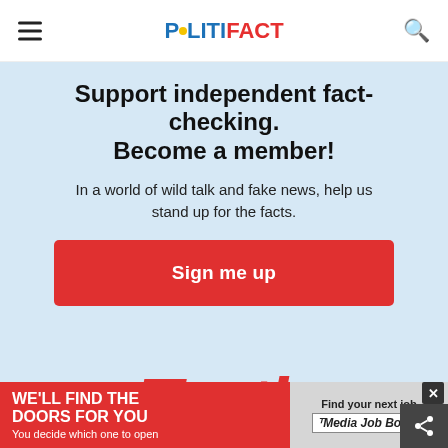POLITIFACT
Support independent fact-checking. Become a member!
In a world of wild talk and fake news, help us stand up for the facts.
[Figure (other): Red 'Sign me up' button]
[Figure (other): Partially visible large red italic 'Truth' text]
[Figure (other): Advertisement banner: 'WE'LL FIND THE DOORS FOR YOU You decide which one to open' on left, 'Find your next job Media Job Board' on right]